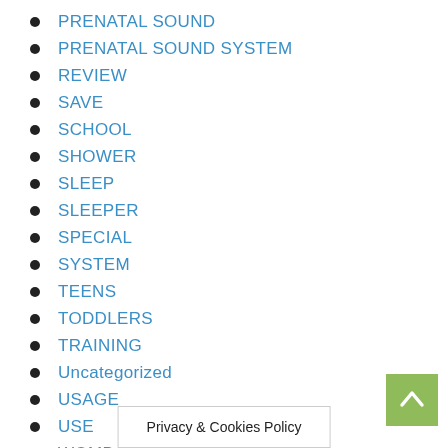PRENATAL SOUND
PRENATAL SOUND SYSTEM
REVIEW
SAVE
SCHOOL
SHOWER
SLEEP
SLEEPER
SPECIAL
SYSTEM
TEENS
TODDLERS
TRAINING
Uncategorized
USAGE
USE
WOMB
Privacy & Cookies Policy